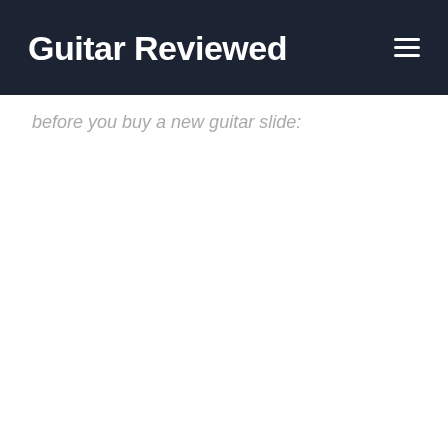Guitar Reviewed
before you buy a new guitar slide: